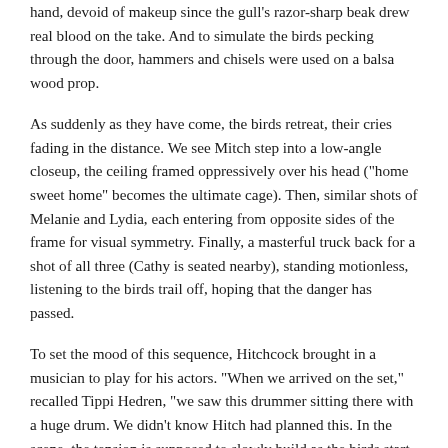hand, devoid of makeup since the gull's razor-sharp beak drew real blood on the take. And to simulate the birds pecking through the door, hammers and chisels were used on a balsa wood prop.
As suddenly as they have come, the birds retreat, their cries fading in the distance. We see Mitch step into a low-angle closeup, the ceiling framed oppressively over his head ("home sweet home" becomes the ultimate cage). Then, similar shots of Melanie and Lydia, each entering from opposite sides of the frame for visual symmetry. Finally, a masterful truck back for a shot of all three (Cathy is seated nearby), standing motionless, listening to the birds trail off, hoping that the danger has passed.
To set the mood of this sequence, Hitchcock brought in a musician to play for his actors. "When we arrived on the set," recalled Tippi Hedren, "we saw this drummer sitting there with a huge drum. We didn't know Hitch had planned this. In the scene, the tension is supposed to slowly build as the birds start to attack the house. Even Hitchcock, as fine a director as he is, couldn't get a bunch of birds to act that way, so he got the idea of using the drum roll to help us react and to build up the tension. For me, it was the most effective scene in the film."